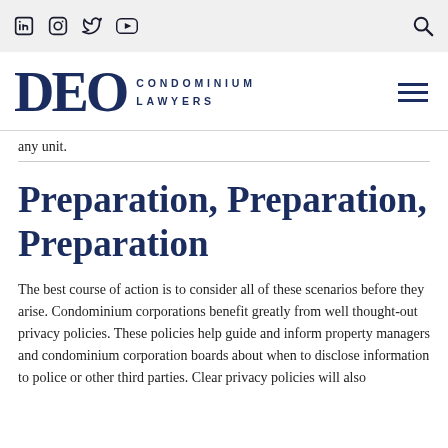Social icons: LinkedIn, Instagram, Twitter, YouTube | Search
[Figure (logo): DEO Condominium Lawyers logo with hamburger menu icon]
any unit.
Preparation, Preparation, Preparation
The best course of action is to consider all of these scenarios before they arise. Condominium corporations benefit greatly from well thought-out privacy policies. These policies help guide and inform property managers and condominium corporation boards about when to disclose information to police or other third parties. Clear privacy policies will also